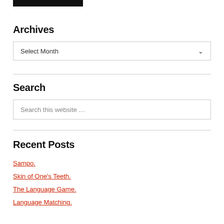[Figure (other): Black rectangular bar at top of page]
Archives
Select Month
Search
Search this website …
Recent Posts
Sampo.
Skin of One's Teeth.
The Language Game.
Language Matching.